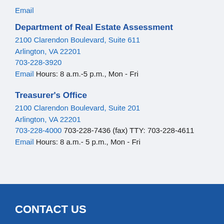Email
Department of Real Estate Assessment
2100 Clarendon Boulevard, Suite 611
Arlington, VA 22201
703-228-3920
Email Hours: 8 a.m.-5 p.m., Mon - Fri
Treasurer's Office
2100 Clarendon Boulevard, Suite 201
Arlington, VA 22201
703-228-4000 703-228-7436 (fax) TTY: 703-228-4611
Email Hours: 8 a.m.- 5 p.m., Mon - Fri
CONTACT US